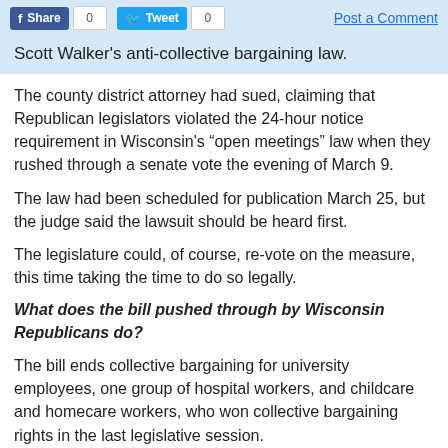Share  0   Tweet  0   Post a Comment
Scott Walker's anti-collective bargaining law.
The county district attorney had sued, claiming that Republican legislators violated the 24-hour notice requirement in Wisconsin's “open meetings” law when they rushed through a senate vote the evening of March 9.
The law had been scheduled for publication March 25, but the judge said the lawsuit should be heard first.
The legislature could, of course, re-vote on the measure, this time taking the time to do so legally.
What does the bill pushed through by Wisconsin Republicans do?
The bill ends collective bargaining for university employees, one group of hospital workers, and childcare and homecare workers, who won collective bargaining rights in the last legislative session.